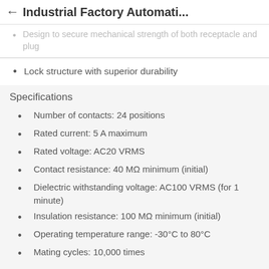Industrial Factory Automati...
Design to secure mechanical strength of both receptacle and plug
Lock structure with superior durability
Specifications
Number of contacts: 24 positions
Rated current: 5 A maximum
Rated voltage: AC20 VRMS
Contact resistance: 40 MΩ minimum (initial)
Dielectric withstanding voltage: AC100 VRMS (for 1 minute)
Insulation resistance: 100 MΩ minimum (initial)
Operating temperature range: -30°C to 80°C
Mating cycles: 10,000 times
Applications
Smartphones
Tablets